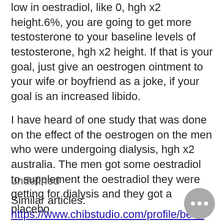low in oestradiol, like 0, hgh x2 height.6%, you are going to get more testosterone to your baseline levels of testosterone, hgh x2 height. If that is your goal, just give an oestrogen ointment to your wife or boyfriend as a joke, if your goal is an increased libido.
I have heard of one study that was done on the effect of the oestrogen on the men who were undergoing dialysis, hgh x2 australia. The men got some oestradiol to supplement the oestradiol they were getting for dialysis and they got a placebo.
undefined
Similar articles:
https://www.chibstudio.com/profile/best-